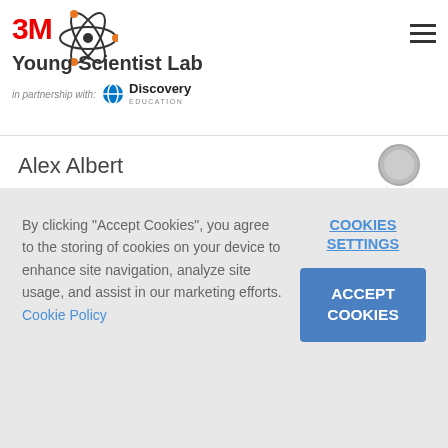3M Young Scientist Lab – in partnership with Discovery Education
Alex Albert
2014 State Merit Winner
7th grade
Washington
By clicking "Accept Cookies", you agree to the storing of cookies on your device to enhance site navigation, analyze site usage, and assist in our marketing efforts. Cookie Policy
COOKIES SETTINGS
ACCEPT COOKIES